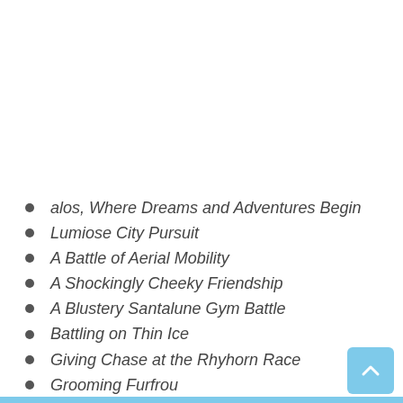alos, Where Dreams and Adventures Begin
Lumiose City Pursuit
A Battle of Aerial Mobility
A Shockingly Cheeky Friendship
A Blustery Santalune Gym Battle
Battling on Thin Ice
Giving Chase at the Rhyhorn Race
Grooming Furfrou
Clemont's Got a Secret